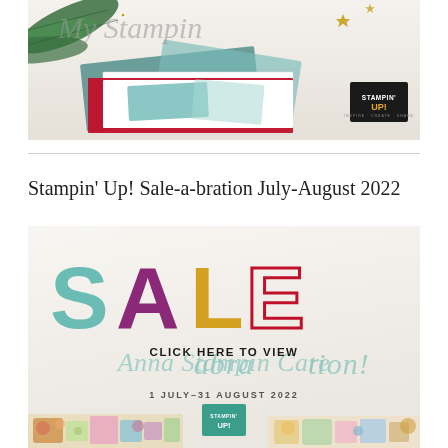[Figure (photo): Stampin' Up! holiday craft scene showing Christmas cards and decorations with pine branches, red and teal card pieces, gold stars, and Stampin' Up! logo. Partial script title visible at top.]
Stampin’ Up! Sale-a-bration July-August 2022
[Figure (photo): Stampin' Up! Sale-a-bration promotional image showing large SALE letters in teal, purple, yellow and red outline, with cursive 'abration!' text in teal, 'CLICK HERE TO VIEW Anna Stampin Care!' text overlay, '1 JULY–31 AUGUST 2022' date, Stampin' Up! teal logo, and colorful craft items at the bottom.]